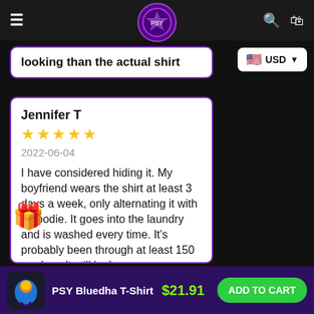PSY store navigation header with hamburger menu, logo, search and cart icons
looking than the actual shirt
USD currency selector
Jennifer T
★★★★★
2022-06-04
I have considered hiding it. My boyfriend wears the shirt at least 3 days a week, only alternating it with a hoodie. It goes into the laundry and is washed every time. It's probably been through at least 150 washes. It still looks new.
PSY Bluedha T-Shirt $21.91 ADD TO CART